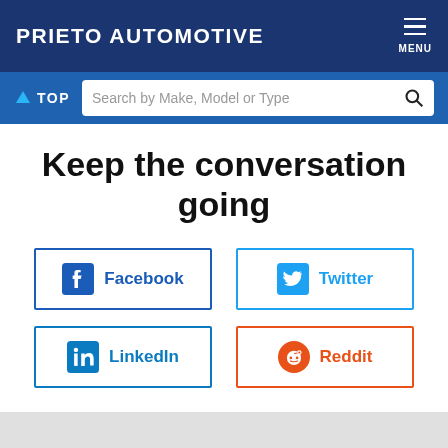PRIETO AUTOMOTIVE
TOP   Search by Make, Model or Type
Keep the conversation going
[Figure (infographic): Four social media sharing buttons arranged in a 2x2 grid: Facebook (blue border, Facebook icon), Twitter (blue border, Twitter bird icon), LinkedIn (blue border, LinkedIn icon), Reddit (orange border, Reddit icon)]